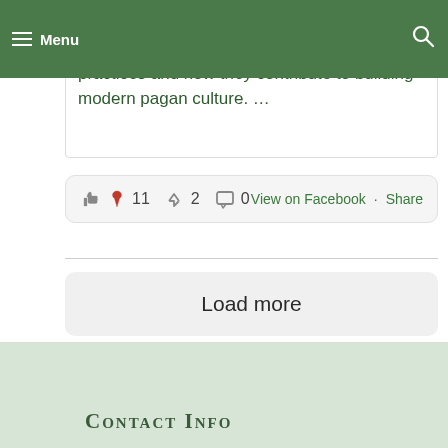Menu
EarthSpirit Community about their Earth-centered practices and how they contribute to building modern pagan culture. …
👍❤️ 11   ↪ 2   💬 0   View on Facebook · Share
Load more
Contact Info